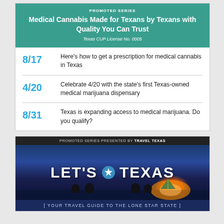PROMOTED SERIES
Medical Cannabis Made for Texans by Texans with Quality You Can Trust
Texas CUP License No. 0005
8/17 Here's how to get a prescription for medical cannabis in Texas
4/20 Celebrate 4/20 with the state's first Texas-owned medical marijuana dispensary
8/31 Texas is expanding access to medical marijuana. Do you qualify?
PROMOTED SERIES PRESENTED BY TRAVEL TEXAS
[Figure (illustration): Let's Texas travel advertisement with people camping at sunset on a beach, blue night sky background]
[ YOUR TRAVEL GUIDE TO THE LONE STAR STATE ]